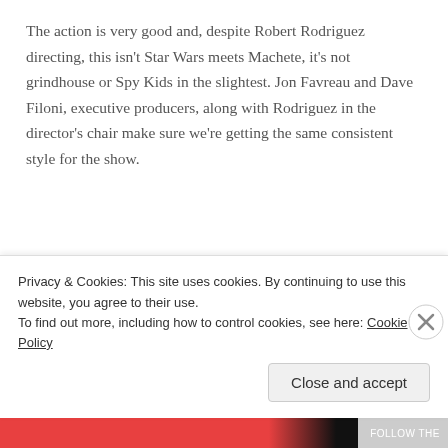The action is very good and, despite Robert Rodriguez directing, this isn't Star Wars meets Machete, it's not grindhouse or Spy Kids in the slightest. Jon Favreau and Dave Filoni, executive producers, along with Rodriguez in the director's chair make sure we're getting the same consistent style for the show.
Privacy & Cookies: This site uses cookies. By continuing to use this website, you agree to their use.
To find out more, including how to control cookies, see here: Cookie Policy
Close and accept